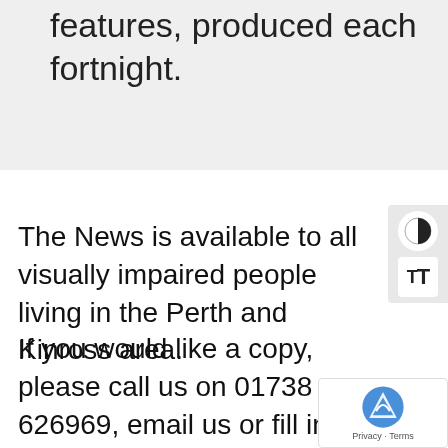features, produced each fortnight.
The News is available to all visually impaired people living in the Perth and Kinross area.
If you would like a copy, please call us on 01738 626969, email us or fill in the contact form.